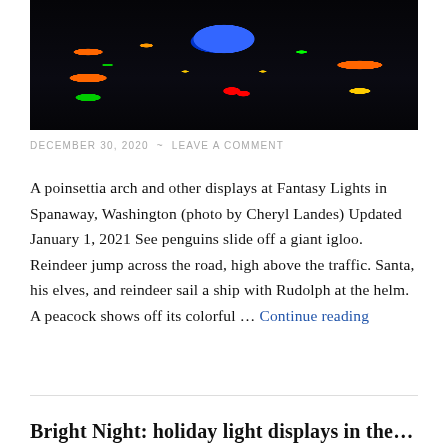[Figure (photo): Night photo of Christmas light displays including colorful illuminated decorations — poinsettia arch, reindeer, and other figures — at Fantasy Lights in Spanaway, Washington. Dark background with red, green, blue, yellow, and orange lights.]
DECEMBER 30, 2020  ~  LEAVE A COMMENT
A poinsettia arch and other displays at Fantasy Lights in Spanaway, Washington (photo by Cheryl Landes) Updated January 1, 2021 See penguins slide off a giant igloo. Reindeer jump across the road, high above the traffic. Santa, his elves, and reindeer sail a ship with Rudolph at the helm. A peacock shows off its colorful … Continue reading
Bright Night: holiday light displays in the …